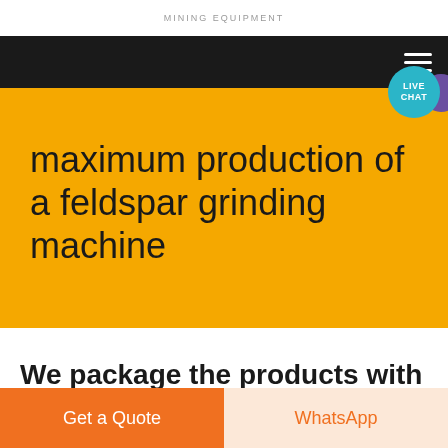MINING EQUIPMENT
[Figure (screenshot): Black navigation bar with hamburger menu icon and live chat bubble (teal circle with LIVE CHAT text, purple circle beside it)]
maximum production of a feldspar grinding machine
We package the products with best